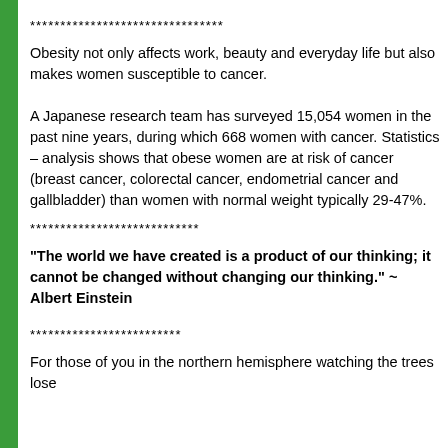********************************
Obesity not only affects work, beauty and everyday life but also makes women susceptible to cancer.

A Japanese research team has surveyed 15,054 women in the past nine years, during which 668 women with cancer. Statistics – analysis shows that obese women are at risk of cancer (breast cancer, colorectal cancer, endometrial cancer and gallbladder) than women with normal weight typically 29-47%.
****************************
"The world we have created is a product of our thinking; it cannot be changed without changing our thinking." ~ Albert Einstein
*************************
For those of you in the northern hemisphere watching the trees lose